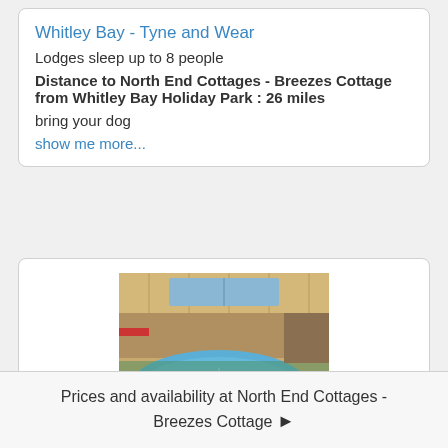Whitley Bay - Tyne and Wear
Lodges sleep up to 8 people
Distance to North End Cottages - Breezes Cottage from Whitley Bay Holiday Park : 26 miles
bring your dog
show me more...
[Figure (photo): Indoor swimming pool and hot tub area at Riverside Country Park]
Riverside Country Park
Prices and availability at North End Cottages - Breezes Cottage ›